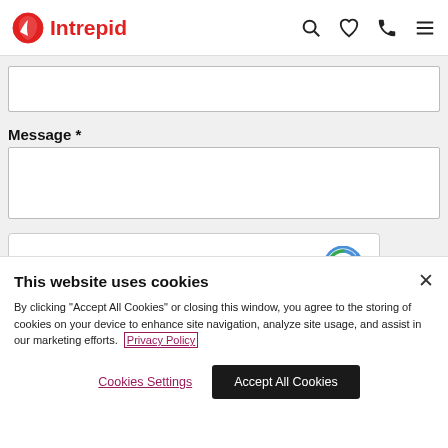Intrepid
[Figure (screenshot): Text input field (empty)]
Message *
[Figure (screenshot): Message textarea input field (empty)]
[Figure (screenshot): reCAPTCHA widget with checkbox 'I'm not a robot' and reCAPTCHA logo. Shows 'Privacy - Terms' at bottom.]
This website uses cookies
By clicking "Accept All Cookies" or closing this window, you agree to the storing of cookies on your device to enhance site navigation, analyze site usage, and assist in our marketing efforts. Privacy Policy
Cookies Settings
Accept All Cookies